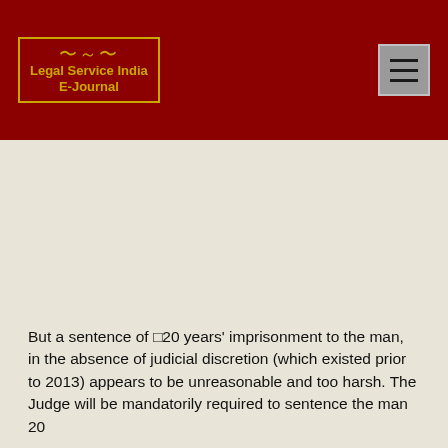Legal Service India E-Journal
But a sentence of �20 years' imprisonment to the man, in the absence of judicial discretion (which existed prior to 2013) appears to be unreasonable and too harsh. The Judge will be mandatorily required to sentence the man 20